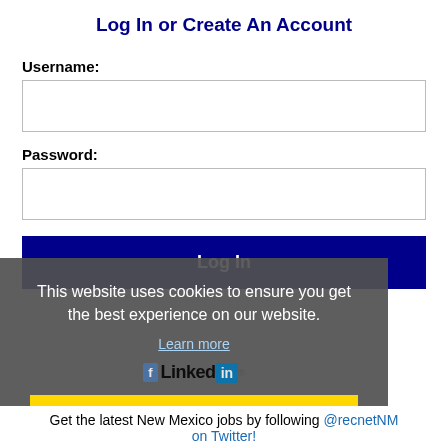Log In or Create An Account
Username:
Password:
[Figure (screenshot): Log In button (dark navy blue background, white bold text)]
Forgot password?
This website uses cookies to ensure you get the best experience on our website.
Learn more
[Figure (logo): LinkedIn logo with 'f' Facebook icon and LinkedIn wordmark with 'in' badge]
Got it!
Get the latest New Mexico jobs by following @recnetNM on Twitter!